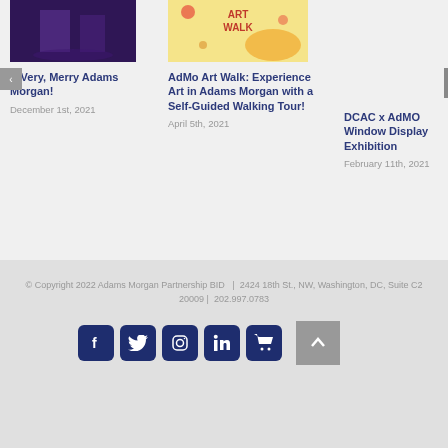[Figure (photo): Photo of event at Adams Morgan with people in dark setting with purple/blue lighting]
[Figure (photo): Art Walk promotional image with colorful design on yellow/orange background]
A Very, Merry Adams Morgan!
December 1st, 2021
AdMo Art Walk: Experience Art in Adams Morgan with a Self-Guided Walking Tour!
April 5th, 2021
DCAC x AdMO Window Display Exhibition
February 11th, 2021
© Copyright 2022 Adams Morgan Partnership BID   |  2424 18th St., NW, Washington, DC, Suite C2 20009 |  202.997.0783